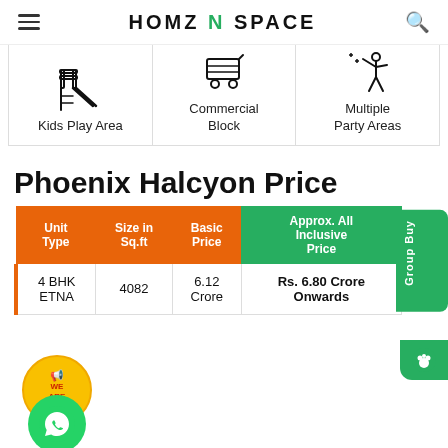HOMZ N SPACE
[Figure (infographic): Three amenity icons in a row: Kids Play Area (playground slide icon), Commercial Block (trolley/cart icon), Multiple Party Areas (figure with raised arms icon)]
Phoenix Halcyon Price
| Unit Type | Size in Sq.ft | Basic Price | Approx. All Inclusive Price |
| --- | --- | --- | --- |
| 4 BHK ETNA | 4082 | 6.12 Crore | Rs. 6.80 Crore Onwards |